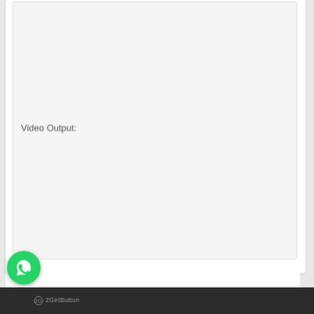[Figure (screenshot): A web page UI showing a light gray content area with a 'Video Output:' label in the upper-left portion of the box. The content box has a white card background with rounded corners.]
Video Output:
[Figure (logo): WhatsApp circular green button with white phone/chat icon, positioned at bottom left over a dark footer bar. Below it shows '2GetButton' branding text.]
2GetButton